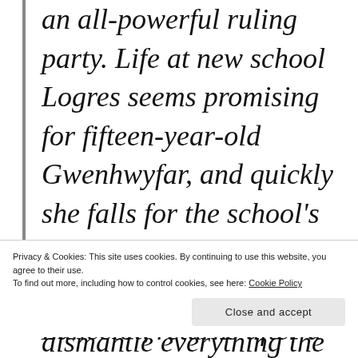an all-powerful ruling party. Life at new school Logres seems promising for fifteen-year-old Gwenhwyfar, and quickly she falls for the school's handsome catch, Arthur. When Arthur's rival, Lancelot, returns after a suspension, her heart is soon divided.
Privacy & Cookies: This site uses cookies. By continuing to use this website, you agree to their use. To find out more, including how to control cookies, see here: Cookie Policy
Close and accept
dismantle everything the government